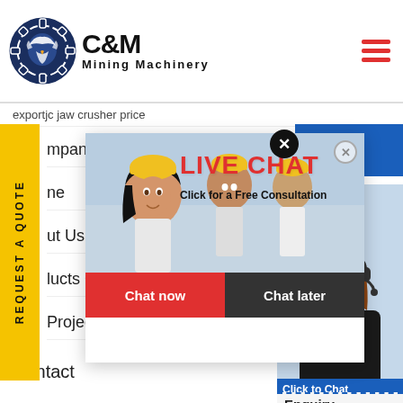[Figure (logo): C&M Mining Machinery logo with eagle gear icon in dark blue]
exportjc jaw crusher price
REQUEST A QUOTE
mpany
ne
ut Us
lucts Center
Projects
Contact
[Figure (photo): Live Chat popup with workers in hard hats, LIVE CHAT title in red, Click for a Free Consultation text, Chat now (red) and Chat later (dark) buttons]
[Figure (photo): Customer service representative with headset smiling, with Hours/Online blue block, Click to Chat blue bar, and Enquiry text at bottom]